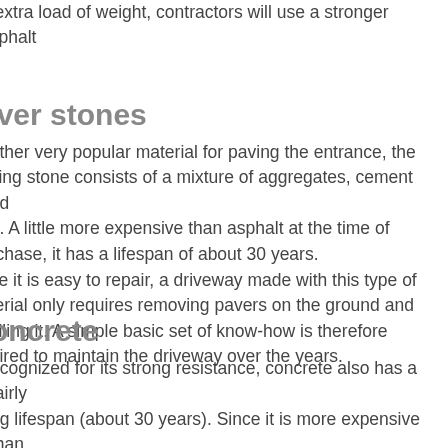n extra load of weight, contractors will use a stronger asphalt ix.
aver stones
nother very popular material for paving the entrance, the aving stone consists of a mixture of aggregates, cement and nd. A little more expensive than asphalt at the time of urchase, it has a lifespan of about 30 years.
nce it is easy to repair, a driveway made with this type of aterial only requires removing pavers on the ground and velling it. A simple basic set of know-how is therefore quired to maintain the driveway over the years.
oncrete
ecognized for its strong resistance, concrete also has a fairly ng lifespan (about 30 years). Since it is more expensive than her materials, some opt to create a driveway that mixes oncrete with pavers. This combination makes it possible to